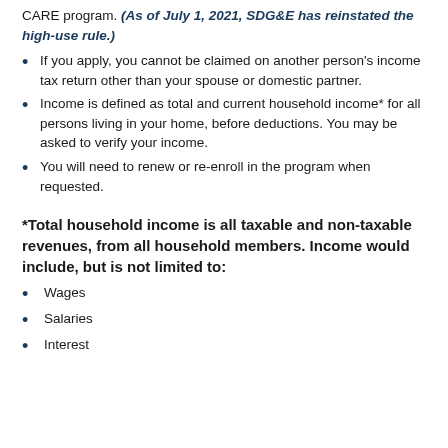CARE program. (As of July 1, 2021, SDG&E has reinstated the high-use rule.)
If you apply, you cannot be claimed on another person's income tax return other than your spouse or domestic partner.
Income is defined as total and current household income* for all persons living in your home, before deductions. You may be asked to verify your income.
You will need to renew or re-enroll in the program when requested.
*Total household income is all taxable and non-taxable revenues, from all household members. Income would include, but is not limited to:
Wages
Salaries
Interest